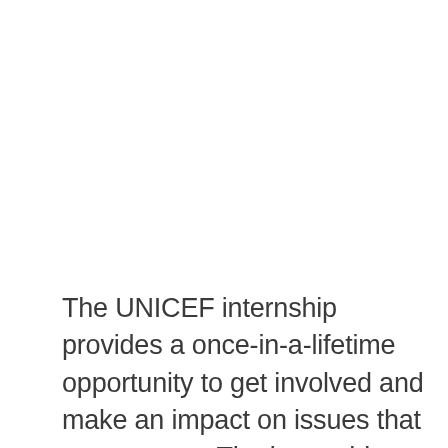The UNICEF internship provides a once-in-a-lifetime opportunity to get involved and make an impact on issues that matter most. The internships provide a great way for students looking to break into international development with hands-on